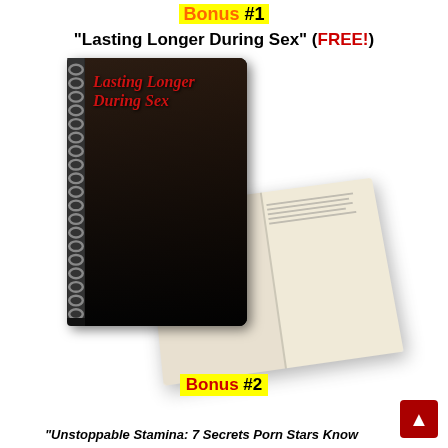Bonus #1
"Lasting Longer During Sex" (FREE!)
[Figure (illustration): Product mockup showing a spiral-bound book titled 'Lasting Longer During Sex' with a dark cover and an open book in the foreground showing interior pages with text and images.]
Bonus #2
"Unstoppable Stamina: 7 Secrets Porn Stars Know